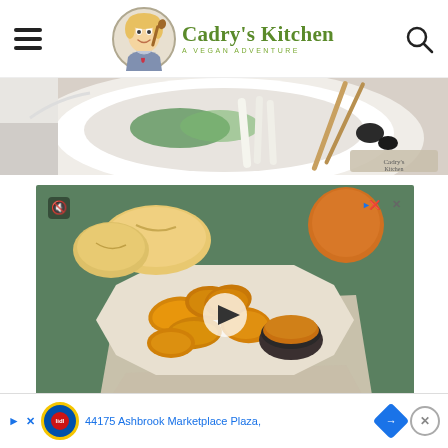Cadry's Kitchen - A Vegan Adventure
[Figure (photo): Top portion of a food photo showing a bowl with vegetables, noodles, and chopsticks on a white background]
[Figure (screenshot): Video advertisement showing fried chicken nuggets on a plate with dipping sauce, dinner rolls in background, with play button overlay. Ad controls visible.]
Podemos Entregar
44175 Ashbrook Marketplace Plaza,